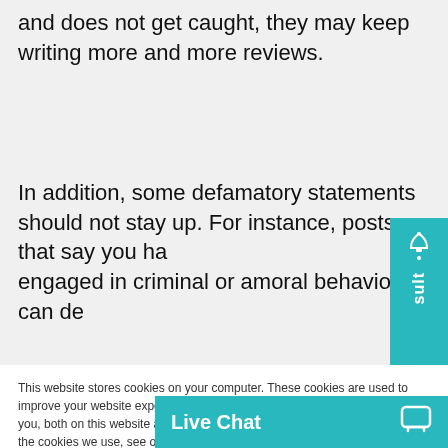and does not get caught, they may keep writing more and more reviews.
In addition, some defamatory statements should not stay up. For instance, posts that say you have engaged in criminal or amoral behavior can de…
This website stores cookies on your computer. These cookies are used to improve your website experience and provide more personalized services to you, both on this website and through other media. To find out more about the cookies we use, see our Privacy Policy.
We won't track your information when you visit our site. But in order to comply with your preferences, we'll have to use just one tiny cookie so that you're not asked to make this choice again.
Accept
Decline
have helped over 2… and 5 countries. We…
Live Chat